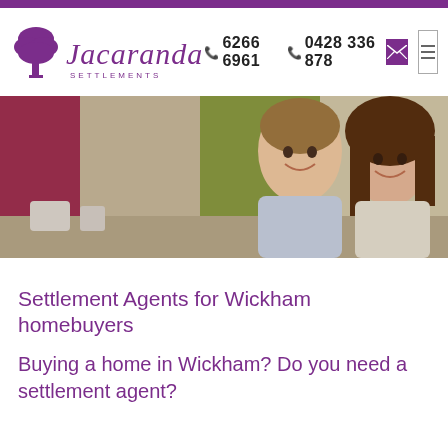[Figure (logo): Jacaranda Settlements logo with purple tree and stylized script text]
6266 6961   0428 336 878
[Figure (photo): Smiling couple in a bright modern home interior]
Settlement Agents for Wickham homebuyers
Buying a home in Wickham? Do you need a settlement agent?